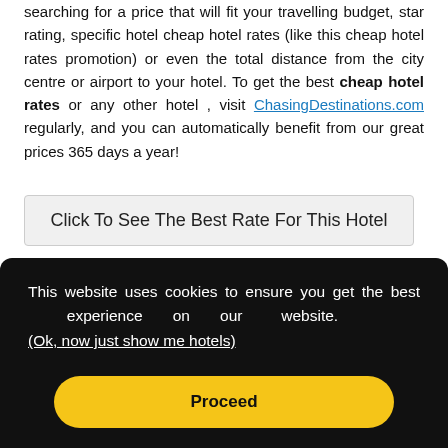searching for a price that will fit your travelling budget, star rating, specific hotel cheap hotel rates (like this cheap hotel rates promotion) or even the total distance from the city centre or airport to your hotel. To get the best cheap hotel rates or any other hotel , visit ChasingDestinations.com regularly, and you can automatically benefit from our great prices 365 days a year!
Click To See The Best Rate For This Hotel
[Figure (illustration): Red square icon with a white building/hotel grid icon]
This website uses cookies to ensure you get the best experience on our website. (Ok, now just show me hotels)
Proceed